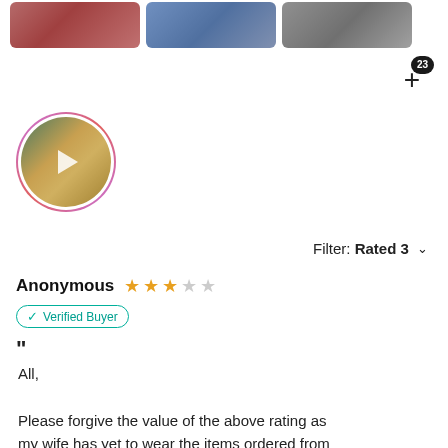[Figure (photo): Three product/user photos cropped at top, partially visible]
[Figure (other): Plus button with badge showing 23 more photos]
[Figure (other): Circular video thumbnail with play button, surrounded by gradient border]
Filter: Rated 3 ˅
Anonymous ★★★☆☆
Verified Buyer
" All,

Please forgive the value of the above rating as my wife has yet to wear the items ordered from